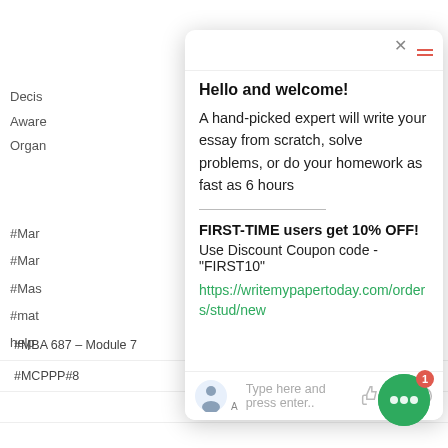Decis
Aware
Organ
#Mar
#Mar
#Mas
#mat
help
Hello and welcome!
A hand-picked expert will write your essay from scratch, solve problems, or do your homework as fast as 6 hours
FIRST-TIME users get 10% OFF!
Use Discount Coupon code - "FIRST10"
https://writemypapertoday.com/orders/stud/new
Type here and press enter..
#MBA 687 – Module 7
#MBA 687 ---- Module 8-1
#MCPPP#8
#Medical
#Mental Health Chapters